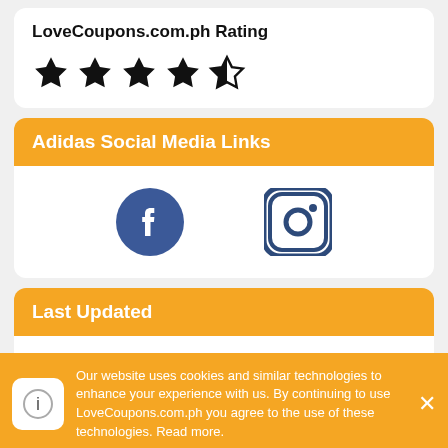LoveCoupons.com.ph Rating
[Figure (other): 4.5 out of 5 stars rating — four filled stars and one half star]
Adidas Social Media Links
[Figure (other): Facebook and Instagram social media icons]
Last Updated
Offers for Adidas were last updated: 2nd September 2022
Our website uses cookies and similar technologies to enhance your experience with us. By continuing to use LoveCoupons.com.ph you agree to the use of these technologies. Read more.